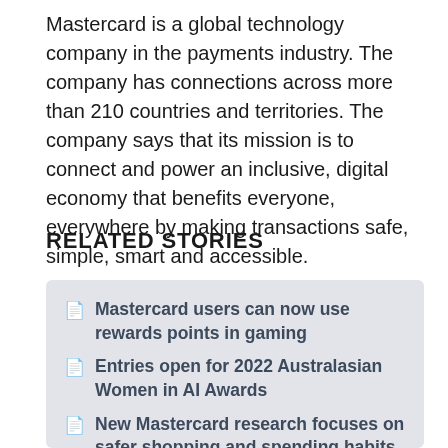Mastercard is a global technology company in the payments industry. The company has connections across more than 210 countries and territories. The company says that its mission is to connect and power an inclusive, digital economy that benefits everyone, everywhere by making transactions safe, simple, smart and accessible.
RELATED STORIES
Mastercard users can now use rewards points in gaming
Entries open for 2022 Australasian Women in AI Awards
New Mastercard research focuses on safer shopping and spending habits
You're invited: She Sharp presents